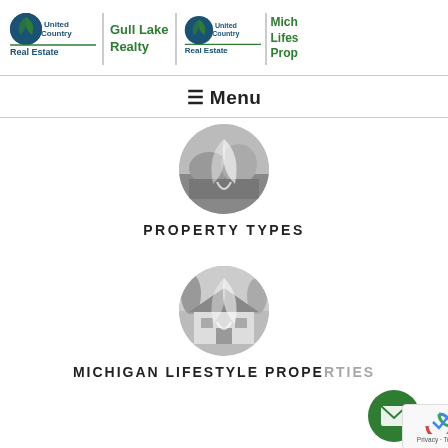[Figure (logo): United Country Real Estate | Gull Lake Realty logo on left, United Country Real Estate | Michigan Lifestyle Properties logo on right (partially cropped)]
☰ Menu
[Figure (illustration): Circular greyscale image with garden/nature scene and United Country leaf watermark — PROPERTY TYPES icon]
PROPERTY TYPES
[Figure (illustration): Circular greyscale image with a house/building scene and United Country leaf watermark — MICHIGAN LIFESTYLE PROPERTIES icon]
MICHIGAN LIFESTYLE PROPERTIES